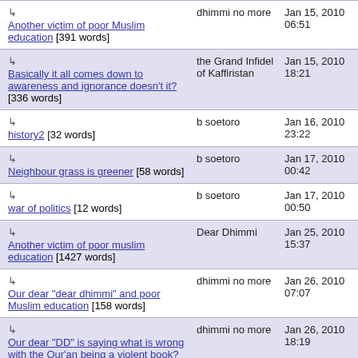↳ Another victim of poor Muslim education [391 words] | dhimmi no more | Jan 15, 2010 06:51
↳ Basically it all comes down to awareness and ignorance doesn't it? [336 words] | the Grand Infidel of Kaffiristan | Jan 15, 2010 18:21
↳ history2 [32 words] | b soetoro | Jan 16, 2010 23:22
↳ Neighbour grass is greener [58 words] | b soetoro | Jan 17, 2010 00:42
↳ war of politics [12 words] | b soetoro | Jan 17, 2010 00:50
↳ Another victim of poor muslim education [1427 words] | Dear Dhimmi | Jan 25, 2010 15:37
↳ Our dear "dear dhimmi" and poor Muslim education [158 words] | dhimmi no more | Jan 26, 2010 07:07
↳ Our dear "DD" is saying what is wrong with the Qur'an being a violent book? [366 words] | dhimmi no more | Jan 26, 2010 18:19